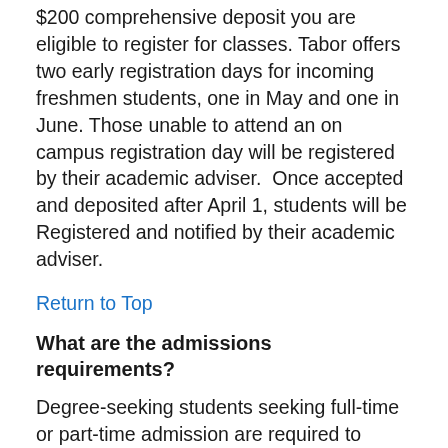$200 comprehensive deposit you are eligible to register for classes. Tabor offers two early registration days for incoming freshmen students, one in May and one in June. Those unable to attend an on campus registration day will be registered by their academic adviser.  Once accepted and deposited after April 1, students will be Registered and notified by their academic adviser.
Return to Top
What are the admissions requirements?
Degree-seeking students seeking full-time or part-time admission are required to complete an application form, provide official high school and/or college transcripts and official